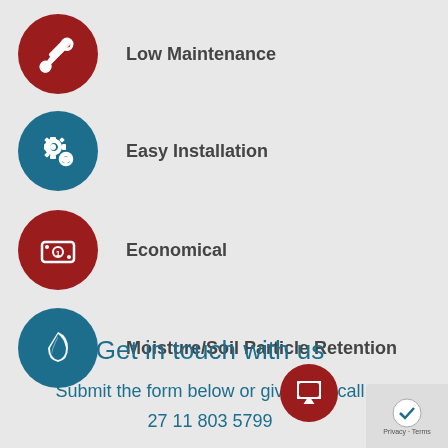Low Maintenance
Easy Installation
Economical
Moisture/Soil Particle Retention
Get in touch with us
Submit the form below or give us a call
27 11 803 5799